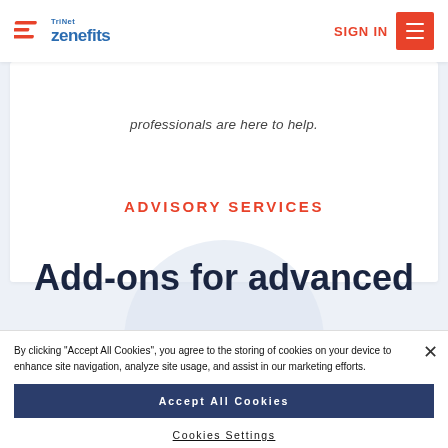TriNet Zenefits | SIGN IN
professionals are here to help.
ADVISORY SERVICES
Add-ons for advanced teams
By clicking "Accept All Cookies", you agree to the storing of cookies on your device to enhance site navigation, analyze site usage, and assist in our marketing efforts.
Accept All Cookies
Cookies Settings